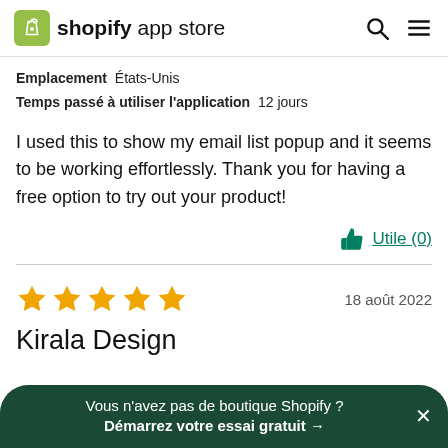shopify app store
Emplacement  États-Unis
Temps passé à utiliser l'application  12 jours
I used this to show my email list popup and it seems to be working effortlessly. Thank you for having a free option to try out your product!
Utile (0)
18 août 2022
Kirala Design
Vous n'avez pas de boutique Shopify ?
Démarrez votre essai gratuit →